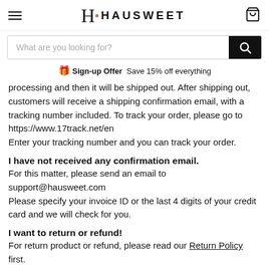HAUSWEET
[Figure (screenshot): Search bar with placeholder text 'What are you looking for?' and black search button with magnifying glass icon]
Sign-up Offer  Save 15% off everything
processing and then it will be shipped out. After shipping out, customers will receive a shipping confirmation email, with a tracking number included. To track your order, please go to https://www.17track.net/en
Enter your tracking number and you can track your order.
I have not received any confirmation email.
For this matter, please send an email to support@hausweet.com
Please specify your invoice ID or the last 4 digits of your credit card and we will check for you.
I want to return or refund!
For return product or refund, please read our Return Policy first.